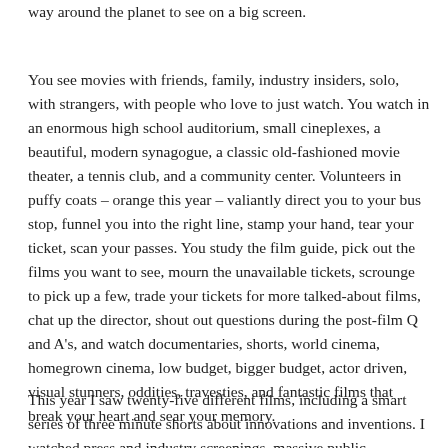way around the planet to see on a big screen.
You see movies with friends, family, industry insiders, solo, with strangers, with people who love to just watch. You watch in an enormous high school auditorium, small cineplexes, a beautiful, modern synagogue, a classic old-fashioned movie theater, a tennis club, and a community center. Volunteers in puffy coats – orange this year – valiantly direct you to your bus stop, funnel you into the right line, stamp your hand, tear your ticket, scan your passes. You study the film guide, pick out the films you want to see, mourn the unavailable tickets, scrounge to pick up a few, trade your tickets for more talked-about films, chat up the director, shout out questions during the post-film Q and A's, and watch documentaries, shorts, world cinema, homegrown cinema, low budget, bigger budget, actor driven, visual stunners, oddities, travesties, and fantastic films that break your heart and sear your memory.
This year I saw twenty-five different films, including a smart series of three minute shorts about innovations and inventions. I watched press and industry screenings, massive public screenings, rowdy